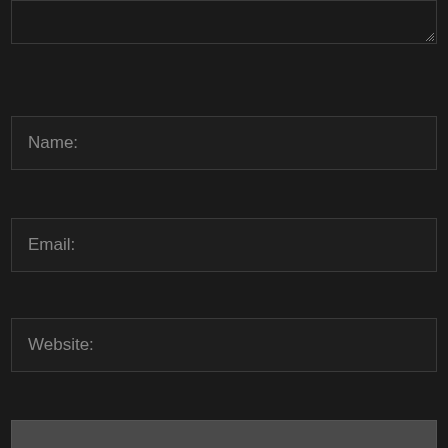[Figure (screenshot): Textarea input box (comment field) — dark background with border and resize handle in bottom-right corner]
[Figure (screenshot): Name input field with placeholder text 'Name:' on dark background]
[Figure (screenshot): Email input field with placeholder text 'Email:' on dark background]
[Figure (screenshot): Website input field with placeholder text 'Website:' on dark background]
[Figure (screenshot): POST COMMENT button in dark gray on dark background]
This site uses Akismet to reduce spam. Learn how your comment data is processed.
Stay connected
[Figure (screenshot): Facebook fans bar with 'f' icon and LIKE button on blue background]